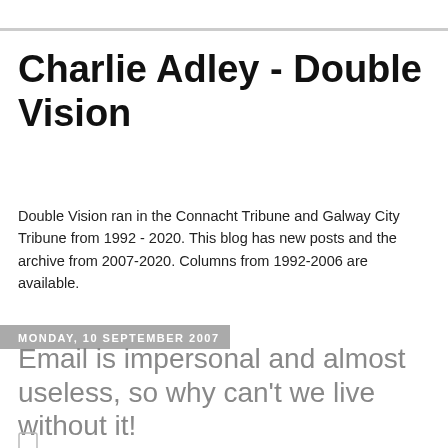Charlie Adley - Double Vision
Double Vision ran in the Connacht Tribune and Galway City Tribune from 1992 - 2020. This blog has new posts and the archive from 2007-2020. Columns from 1992-2006 are available.
Monday, 10 September 2007
Email is impersonal and almost useless, so why can't we live without it!
"Oh my good God! What have I done?"
A black line, carving behind it a greying area of screen, is